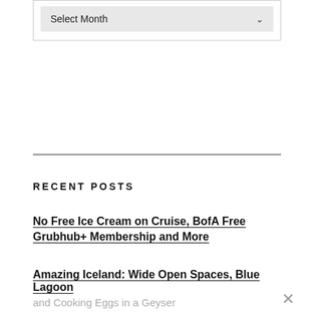[Figure (screenshot): A dropdown/select box UI element with 'Select Month' label and a downward arrow, inside a bordered container.]
RECENT POSTS
No Free Ice Cream on Cruise, BofA Free Grubhub+ Membership and More
Amazing Iceland: Wide Open Spaces, Blue Lagoon and Cooking Eggs in a Geyser